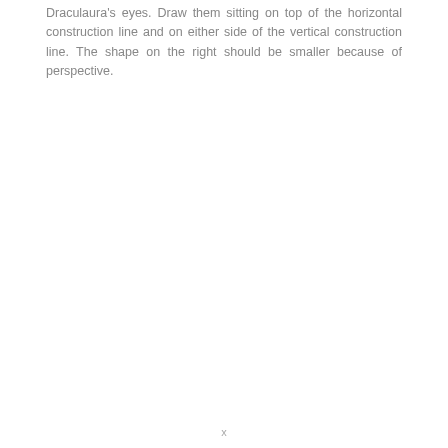Draculaura's eyes. Draw them sitting on top of the horizontal construction line and on either side of the vertical construction line. The shape on the right should be smaller because of perspective.
x